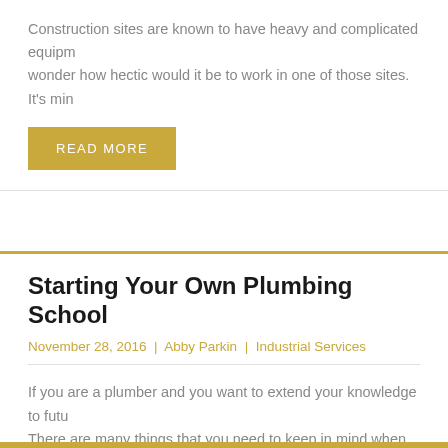Construction sites are known to have heavy and complicated equipment, wonder how hectic would it be to work in one of those sites. It's min
READ MORE
Starting Your Own Plumbing School
November 28, 2016 | Abby Parkin | Industrial Services
If you are a plumber and you want to extend your knowledge to futu There are many things that you need to keep in mind when you mak
READ MORE